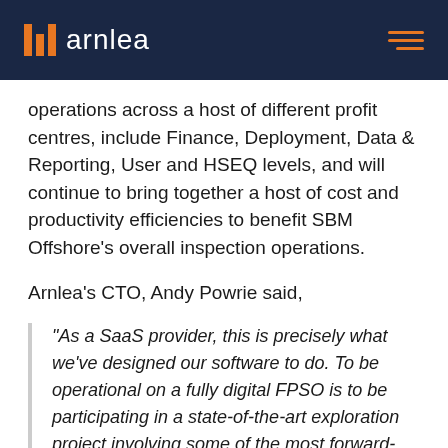arnlea
operations across a host of different profit centres, include Finance, Deployment, Data & Reporting, User and HSEQ levels, and will continue to bring together a host of cost and productivity efficiencies to benefit SBM Offshore's overall inspection operations.
Arnlea's CTO, Andy Powrie said,
“As a SaaS provider, this is precisely what we’ve designed our software to do. To be operational on a fully digital FPSO is to be participating in a state-of-the-art exploration project involving some of the most forward-thinking Oil & Gas operators worldwide. That it is taking place in